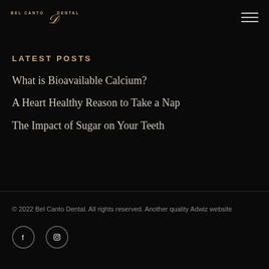Bel Canto Dental
LATEST POSTS
What is Bioavailable Calcium?
A Heart Healthy Reason to Take a Nap
The Impact of Sugar on Your Teeth
© 2022 Bel Canto Dental. All rights reserved. Another quality Adwiz website